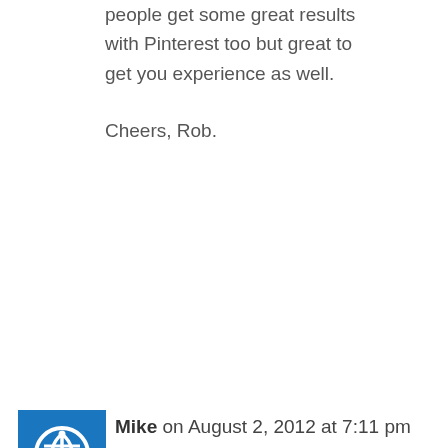people get some great results with Pinterest too but great to get you experience as well.
Cheers, Rob.
Mike on August 2, 2012 at 7:11 pm
Useful post Rob I have tried a few of these but not all of them, I think I will try the forums as you suggest in addition to the solo ads I am already doing. Good luck at your beach volley ball tomorrow although I guess you will be